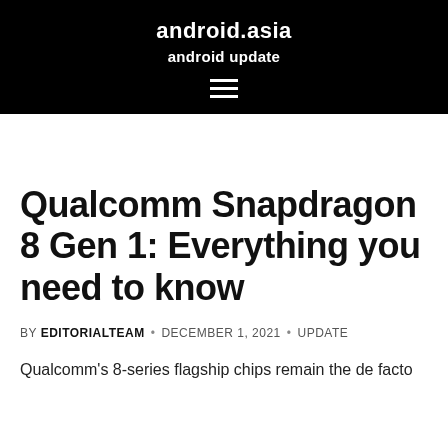android.asia
android update
Qualcomm Snapdragon 8 Gen 1: Everything you need to know
BY EDITORIALTEAM • DECEMBER 1, 2021 • UPDATE
Qualcomm's 8-series flagship chips remain the de facto